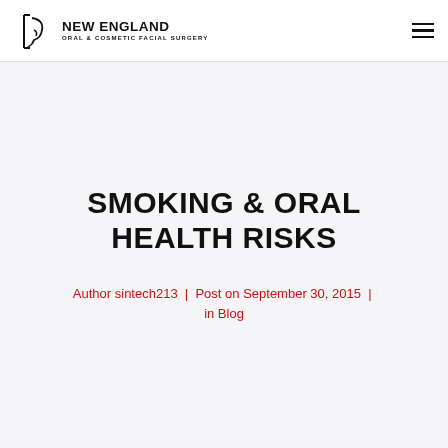NEW ENGLAND ORAL & COSMETIC FACIAL SURGERY
SMOKING & ORAL HEALTH RISKS
Author sintech213 | Post on September 30, 2015 | in Blog